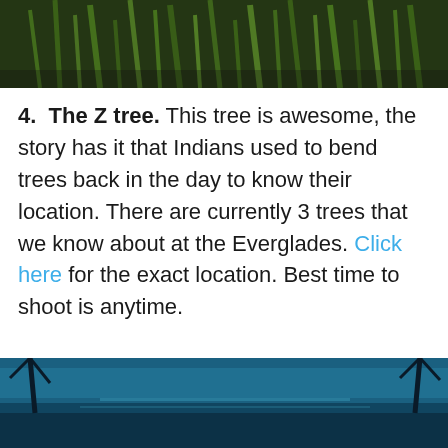[Figure (photo): Close-up photo of green grass or reeds/plants from above, dark green tones]
4.  The Z tree. This tree is awesome, the story has it that Indians used to bend trees back in the day to know their location. There are currently 3 trees that we know about at the Everglades. Click here for the exact location. Best time to shoot is anytime.
[Figure (photo): Bottom portion of a photo showing a blue-teal water/sky scene with silhouettes of palm trees at the edges]